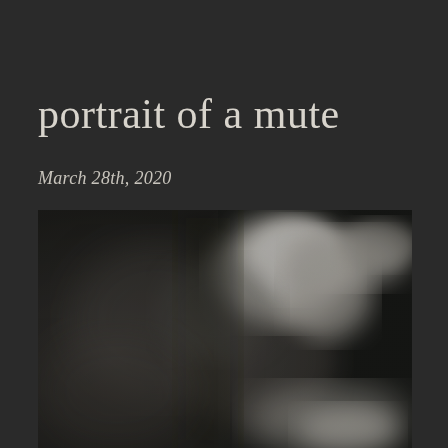portrait of a mute
March 28th, 2020
[Figure (photo): A high-contrast black and white blurry photograph showing abstract forms with bright highlights and dark shadows, suggesting a human figure or face in soft focus]